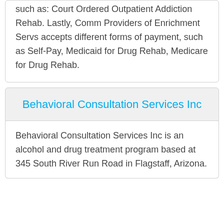such as: Court Ordered Outpatient Addiction Rehab. Lastly, Comm Providers of Enrichment Servs accepts different forms of payment, such as Self-Pay, Medicaid for Drug Rehab, Medicare for Drug Rehab.
Behavioral Consultation Services Inc
Behavioral Consultation Services Inc is an alcohol and drug treatment program based at 345 South River Run Road in Flagstaff, Arizona.